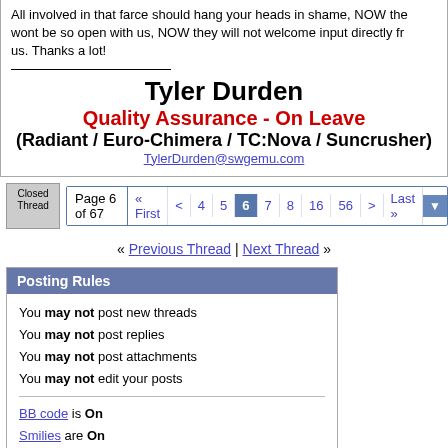All involved in that farce should hang your heads in shame, NOW the wont be so open with us, NOW they will not welcome input directly fr us. Thanks a lot!
Tyler Durden
Quality Assurance - On Leave
(Radiant / Euro-Chimera / TC:Nova / Suncrusher)
TylerDurden@swgemu.com
[Figure (screenshot): Closed Thread icon image]
Page 6 of 67  « First  <  4  5  6  7  8  16  56  >  Last »
« Previous Thread | Next Thread »
Posting Rules
You may not post new threads
You may not post replies
You may not post attachments
You may not edit your posts
BB code is On
Smilies are On
[IMG] code is On
HTML code is Off
Forum Rules
All times are GMT -4. The time now is 10:49 PM.